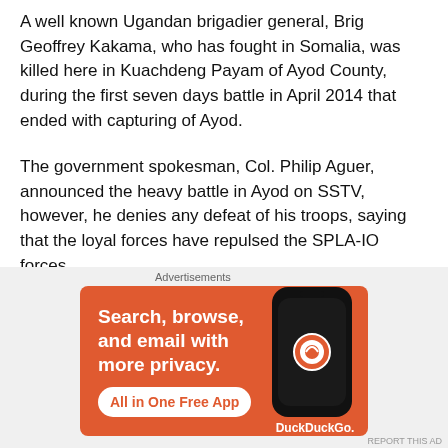A well known Ugandan brigadier general, Brig Geoffrey Kakama, who has fought in Somalia, was killed here in Kuachdeng Payam of Ayod County, during the first seven days battle in April 2014 that ended with capturing of Ayod.
The government spokesman, Col. Philip Aguer, announced the heavy battle in Ayod on SSTV, however, he denies any defeat of his troops, saying that the loyal forces have repulsed the SPLA-IO forces.
According to Col. Aguer, the SPLA [Juba] has lost only three soldiers with 13 others sustaining wounds while the SPLA[IO] lost 54 fighters.
[Figure (other): DuckDuckGo advertisement banner with orange background showing 'Search, browse, and email with more privacy. All in One Free App' with a phone mockup and DuckDuckGo logo]